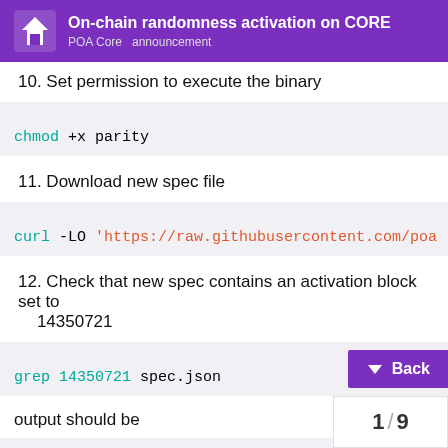On-chain randomness activation on CORE
POA Core  announcement
10. Set permission to execute the binary
chmod +x parity
11. Download new spec file
curl -LO 'https://raw.githubusercontent.com/poa...
12. Check that new spec contains an activation block set to 14350721
grep 14350721 spec.json
output should be
"14350721": "0x67e90a54AcEA85f21c6049c6...
13. Login back to sudo-enabled user
1 / 9